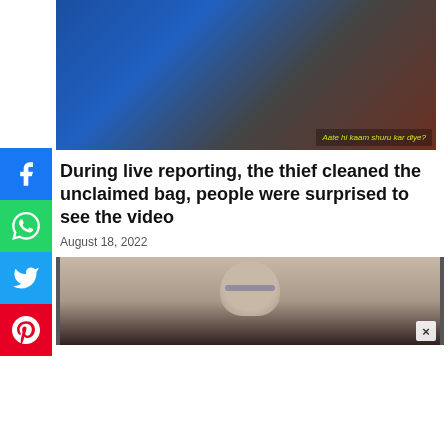[Figure (photo): Composite image showing a cricketer in blue Indian cricket jersey fielding, and a man sitting indoors, with yellow Hindi text overlay reading 'Aate hi kaam shuru kar diye?']
During live reporting, the thief cleaned the unclaimed bag, people were surprised to see the video
August 18, 2022
[Figure (photo): Partial photo of an older man with grey hair, shown from shoulders up, with dark border on left and right sides. Close button (x) visible at bottom right.]